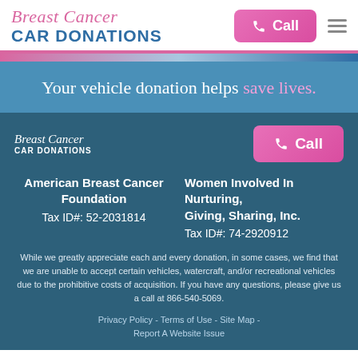[Figure (logo): Breast Cancer Car Donations logo with cursive pink text and bold blue uppercase text]
[Figure (other): Pink Call button with phone icon and hamburger menu icon]
Your vehicle donation helps save lives.
[Figure (logo): Small Breast Cancer Car Donations logo in white on dark blue background]
[Figure (other): Pink Call button with phone icon]
American Breast Cancer Foundation Tax ID#: 52-2031814
Women Involved In Nurturing, Giving, Sharing, Inc. Tax ID#: 74-2920912
While we greatly appreciate each and every donation, in some cases, we find that we are unable to accept certain vehicles, watercraft, and/or recreational vehicles due to the prohibitive costs of acquisition. If you have any questions, please give us a call at 866-540-5069.
Privacy Policy - Terms of Use - Site Map - Report A Website Issue